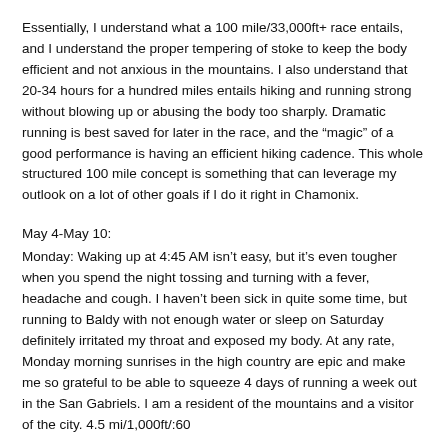Essentially, I understand what a 100 mile/33,000ft+ race entails, and I understand the proper tempering of stoke to keep the body efficient and not anxious in the mountains. I also understand that 20-34 hours for a hundred miles entails hiking and running strong without blowing up or abusing the body too sharply. Dramatic running is best saved for later in the race, and the “magic” of a good performance is having an efficient hiking cadence. This whole structured 100 mile concept is something that can leverage my outlook on a lot of other goals if I do it right in Chamonix.
May 4-May 10:
Monday: Waking up at 4:45 AM isn’t easy, but it’s even tougher when you spend the night tossing and turning with a fever, headache and cough. I haven’t been sick in quite some time, but running to Baldy with not enough water or sleep on Saturday definitely irritated my throat and exposed my body. At any rate, Monday morning sunrises in the high country are epic and make me so grateful to be able to squeeze 4 days of running a week out in the San Gabriels. I am a resident of the mountains and a visitor of the city. 4.5 mi/1,000ft/:60
Tuesday: Maybe I was sick, maybe I was tired, maybe I hate flat terrain, or maybe I just struggle to run in the evening, but the 10x90sec reps around